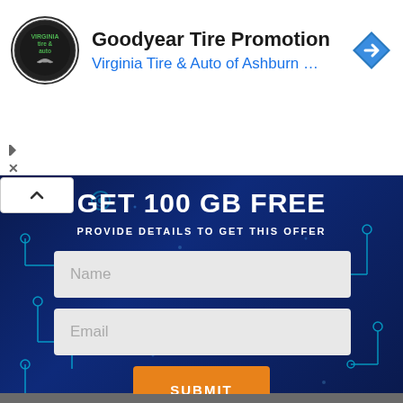[Figure (logo): Virginia Tire & Auto circular logo with handshake icon]
Goodyear Tire Promotion
Virginia Tire & Auto of Ashburn …
[Figure (other): Blue diamond navigation arrow icon]
GET 100 GB FREE
PROVIDE DETAILS TO GET THIS OFFER
Name
Email
SUBMIT